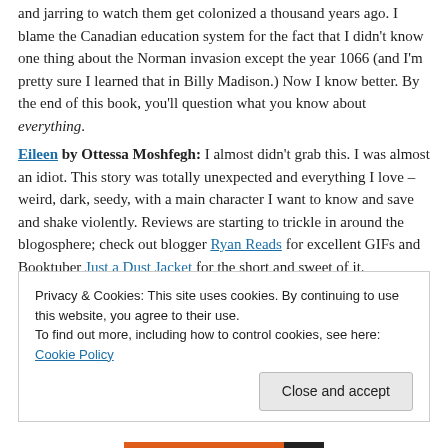When you think of colonizers, you think of the British, right? It was weird and jarring to watch them get colonized a thousand years ago. I blame the Canadian education system for the fact that I didn't know one thing about the Norman invasion except the year 1066 (and I'm pretty sure I learned that in Billy Madison.) Now I know better. By the end of this book, you'll question what you know about everything.
Eileen by Ottessa Moshfegh: I almost didn't grab this. I was almost an idiot. This story was totally unexpected and everything I love – weird, dark, seedy, with a main character I want to know and save and shake violently. Reviews are starting to trickle in around the blogosphere; check out blogger Ryan Reads for excellent GIFs and Booktuber Just a Dust Jacket for the short and sweet of it.
Purity by Jonathan Franzen: Reviewed here and here and here.
Privacy & Cookies: This site uses cookies. By continuing to use this website, you agree to their use. To find out more, including how to control cookies, see here: Cookie Policy